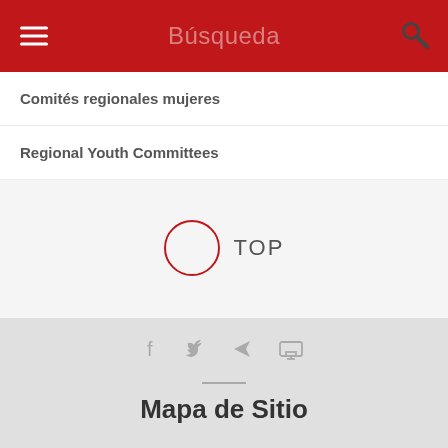Búsqueda
Comités regionales mujeres
Regional Youth Committees
[Figure (other): Circle button with 'TOP' label for scrolling back to top of page]
[Figure (other): Social media sharing icons: Facebook, Twitter, Telegram, Print]
Mapa de Sitio
PRIORIDADES
SINDICATO
TRABAJO